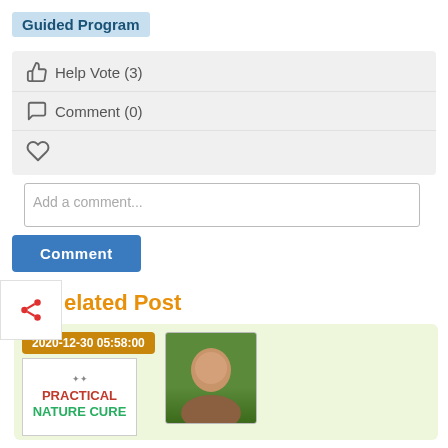Guided Program
👍 Help Vote (3)
💬 Comment (0)
♡ (heart/like)
Add a comment...
Comment (button)
Related Post
[Figure (photo): Book cover: PRACTICAL NATURE CURE, with a bald man in a green background, date badge 2020-12-30 0558:00]